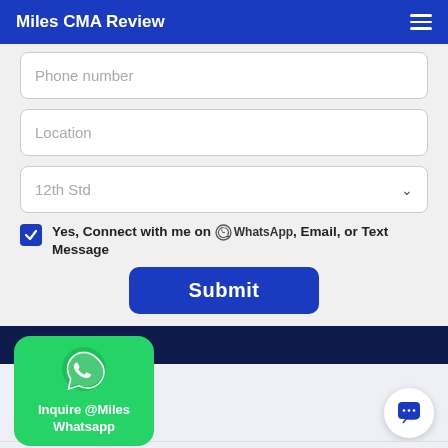Miles CMA Review
Phone number
Location
12th Std
Yes, Connect with me on WhatsApp, Email, or Text Message
Submit
[Figure (logo): WhatsApp icon with text: Inquire @Miles Whatsapp]
[Figure (illustration): Chat bubble icon button]
OFFERINGS   SCHEDULES   FEES